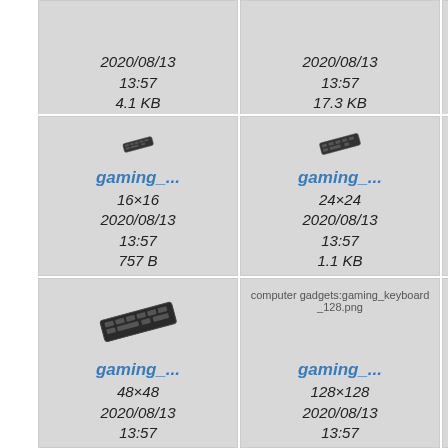[Figure (screenshot): File browser grid showing gaming keyboard icon files at various sizes. Top partial row shows two cells with dates 2020/08/13 13:57, sizes 4.1 KB and 17.3 KB. Middle row shows 16x16 and 24x24 icons with filenames gaming_..., dates 2020/08/13 13:57, sizes 757 B and 1.1 KB. Bottom row shows 48x48 icon (gaming_..., 2020/08/13 13:57) and 128x128 broken image (gaming_..., 2020/08/13 13:57).]